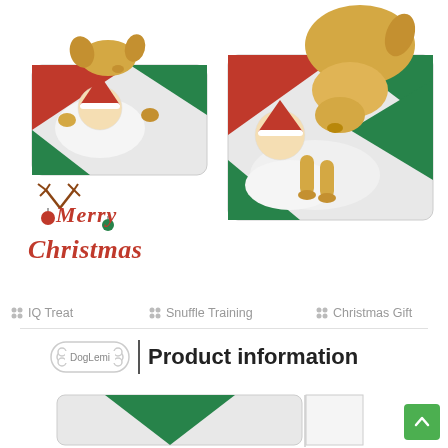[Figure (photo): Two photos of a cream/golden dog sniffing a Christmas-themed snuffle mat with Santa Claus design in red, green and white, shown from two angles]
[Figure (illustration): Merry Christmas decorative text logo in red cursive font with reindeer antlers and ornament decorations]
🐾 IQ Treat
🐾 Snuffle Training
🐾 Christmas Gift
[Figure (logo): DogLemi brand bone-shaped logo badge next to vertical divider line]
Product information
[Figure (photo): Bottom partial photo of the snuffle mat laying flat showing green triangle design on grey/white background]